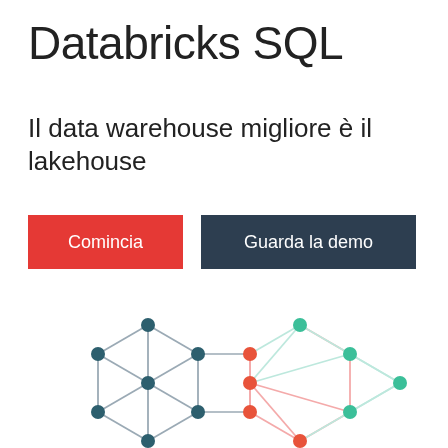Databricks SQL
Il data warehouse migliore è il lakehouse
[Figure (illustration): Two hexagonal network diagrams side by side with nodes connected by lines. Left hexagon uses dark teal/slate colored nodes and gray-blue lines. Right hexagon uses green and orange/red nodes with light pink/mint lines. The hexagons share a middle area with orange-red nodes.]